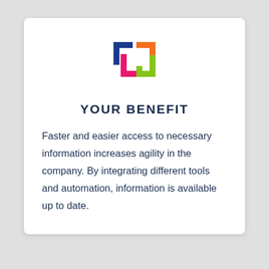[Figure (logo): Colorful bracket-style logo with blue, orange, pink, and green squares forming interlocking bracket shapes]
YOUR BENEFIT
Faster and easier access to necessary information increases agility in the company. By integrating different tools and automation, information is available up to date.